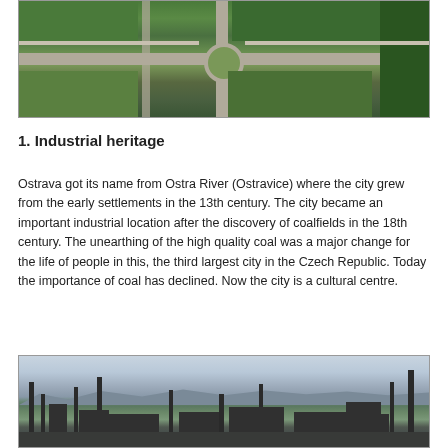[Figure (photo): Aerial view of Ostrava city park with roundabout, green trees, and pathways]
1. Industrial heritage
Ostrava got its name from Ostra River (Ostravice) where the city grew from the early settlements in the 13th century. The city became an important industrial location after the discovery of coalfields in the 18th century. The unearthing of the high quality coal was a major change for the life of people in this, the third largest city in the Czech Republic. Today the importance of coal has declined. Now the city is a cultural centre.
[Figure (photo): Industrial skyline of Ostrava with factory chimneys, industrial structures, and mountains in the background]